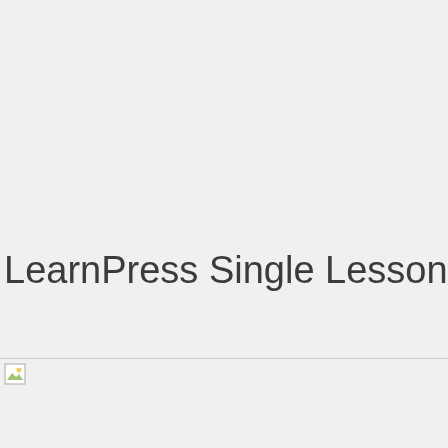LearnPress Single Lesson
[Figure (other): Broken/missing image placeholder icon below a horizontal rule line]